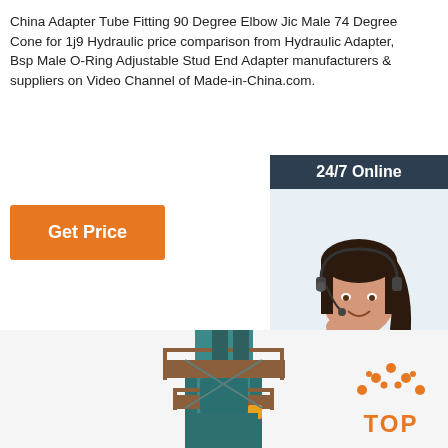China Adapter Tube Fitting 90 Degree Elbow Jic Male 74 Degree Cone for 1j9 Hydraulic price comparison from Hydraulic Adapter, Bsp Male O-Ring Adjustable Stud End Adapter manufacturers & suppliers on Video Channel of Made-in-China.com.
Get Price
24/7 Online
[Figure (photo): Woman with headset smiling, customer service representative photo]
Click here for free chat !
QUOTATION
[Figure (photo): Industrial hydraulic press machine, teal/green colored, tall tower structure with platforms]
[Figure (illustration): TOP icon with orange dots arranged in triangle pattern above the word TOP in orange]